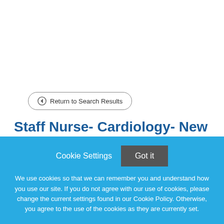Return to Search Results
Staff Nurse- Cardiology- New Rates of Pay!
About Akron Children's HospitalAkron Children's
Cookie Settings
Got it
We use cookies so that we can remember you and understand how you use our site. If you do not agree with our use of cookies, please change the current settings found in our Cookie Policy. Otherwise, you agree to the use of the cookies as they are currently set.